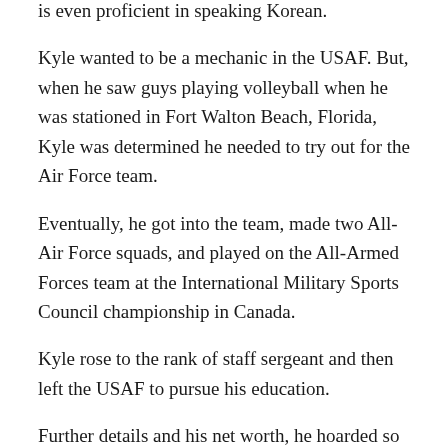is even proficient in speaking Korean.
Kyle wanted to be a mechanic in the USAF. But, when he saw guys playing volleyball when he was stationed in Fort Walton Beach, Florida, Kyle was determined he needed to try out for the Air Force team.
Eventually, he got into the team, made two All-Air Force squads, and played on the All-Armed Forces team at the International Military Sports Council championship in Canada.
Kyle rose to the rank of staff sergeant and then left the USAF to pursue his education.
Further details and his net worth, he hoarded so far, were not yet revealed.